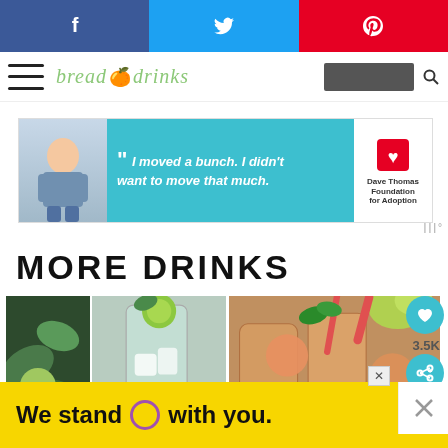Social share bar: Facebook, Twitter, Pinterest
Bread & Drinks navigation bar
[Figure (photo): Advertisement banner: Dave Thomas Foundation for Adoption. Boy with quote 'I moved a bunch. I didn't want to move that much.']
MORE DRINKS
[Figure (photo): Two drink images side by side: left shows green herbs/mint with icy lime drinks, right shows orange/peachy drinks with mint garnish]
[Figure (infographic): What's Next widget: Baked Apple Cider Donuts thumbnail with label]
[Figure (photo): Bottom advertisement: yellow background with text 'We stand O with you.' and purple circle logo. Close button visible.]